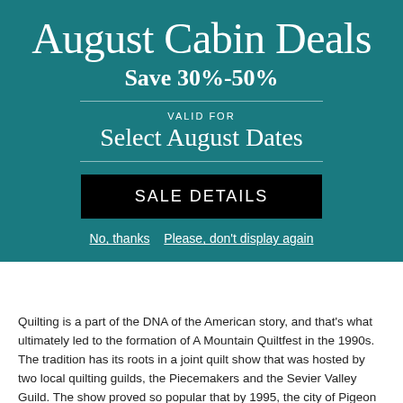August Cabin Deals
Save 30%-50%
VALID FOR
Select August Dates
SALE DETAILS
No, thanks   Please, don't display again
Quilting is a part of the DNA of the American story, and that's what ultimately led to the formation of A Mountain Quiltfest in the 1990s. The tradition has its roots in a joint quilt show that was hosted by two local quilting guilds, the Piecemakers and the Sevier Valley Guild. The show proved so popular that by 1995, the city of Pigeon Forge asked the guilds to organize an official event for the city. (more...)
No Comments